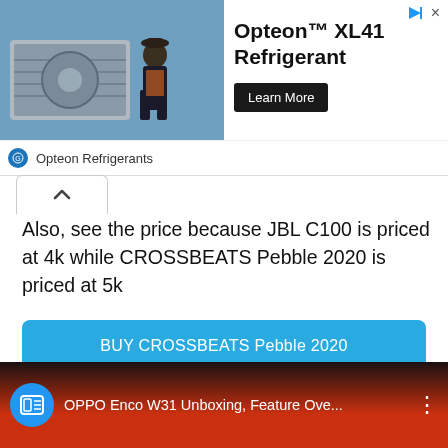[Figure (screenshot): Advertisement banner for Opteon XL41 Refrigerant showing a technician working on HVAC equipment, with Learn More button and Opteon Refrigerants branding]
Also, see the price because JBL C100 is priced at 4k while CROSSBEATS Pebble 2020 is priced at 5k
BUY CROSSBEATS Pebble 2020
5. OPPO ENCO W31
[Figure (screenshot): YouTube video thumbnail for OPPO Enco W31 Unboxing, Feature Ove... showing earbuds and a smartphone on an orange background with OPPO branding]